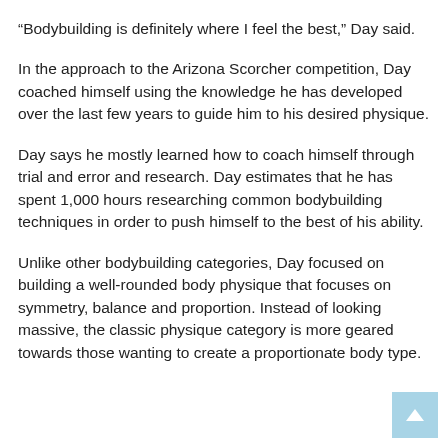“Bodybuilding is definitely where I feel the best,” Day said.
In the approach to the Arizona Scorcher competition, Day coached himself using the knowledge he has developed over the last few years to guide him to his desired physique.
Day says he mostly learned how to coach himself through trial and error and research. Day estimates that he has spent 1,000 hours researching common bodybuilding techniques in order to push himself to the best of his ability.
Unlike other bodybuilding categories, Day focused on building a well-rounded body physique that focuses on symmetry, balance and proportion. Instead of looking massive, the classic physique category is more geared towards those wanting to create a proportionate body type.